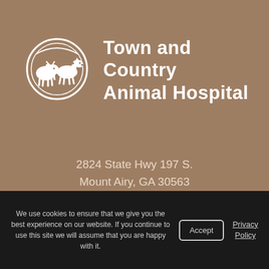[Figure (logo): Town and Country Animal Hospital logo: oval outline with a cow and horse silhouette in white on brownish background]
Town and Country Animal Hospital
2824 State Hwy 197 S.
Mount Airy, GA 30563
(706) 778-7460
We use cookies to ensure that we give you the best experience on our website. If you continue to use this site we will assume that you are happy with it.
Accept
Privacy Policy